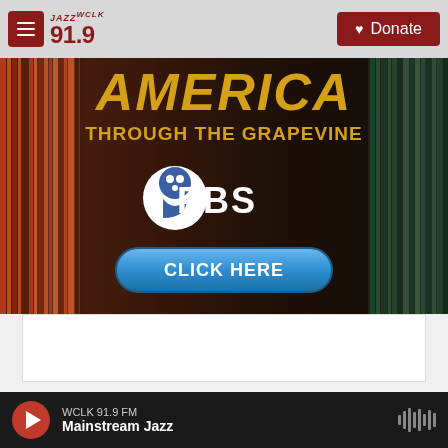JAZZ WCLK 91.9 — navigation bar with Donate button
[Figure (screenshot): Banner image showing 'AMERICA THROUGH THE GRAPEVINE' text in gold on a background of colorful vinyl record spines, with PBS logo and a blue 'CLICK HERE' button]
WCLK 91.9 FM — Mainstream Jazz — audio player bar